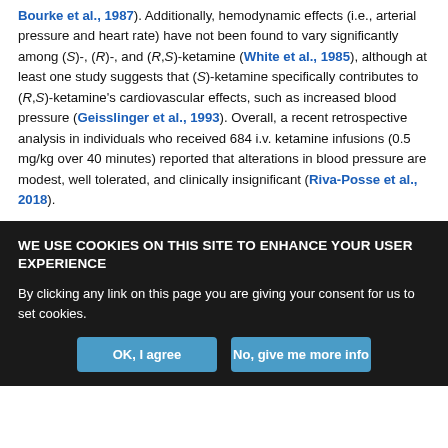Bourke et al., 1987). Additionally, hemodynamic effects (i.e., arterial pressure and heart rate) have not been found to vary significantly among (S)-, (R)-, and (R,S)-ketamine (White et al., 1985), although at least one study suggests that (S)-ketamine specifically contributes to (R,S)-ketamine's cardiovascular effects, such as increased blood pressure (Geisslinger et al., 1993). Overall, a recent retrospective analysis in individuals who received 684 i.v. ketamine infusions (0.5 mg/kg over 40 minutes) reported that alterations in blood pressure are modest, well tolerated, and clinically insignificant (Riva-Posse et al., 2018).
WE USE COOKIES ON THIS SITE TO ENHANCE YOUR USER EXPERIENCE
By clicking any link on this page you are giving your consent for us to set cookies.